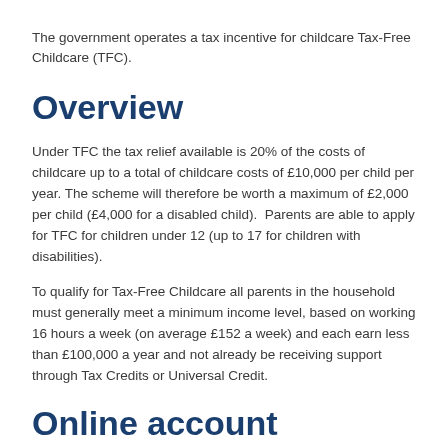The government operates a tax incentive for childcare Tax-Free Childcare (TFC).
Overview
Under TFC the tax relief available is 20% of the costs of childcare up to a total of childcare costs of £10,000 per child per year. The scheme will therefore be worth a maximum of £2,000 per child (£4,000 for a disabled child).  Parents are able to apply for TFC for children under 12 (up to 17 for children with disabilities).
To qualify for Tax-Free Childcare all parents in the household must generally meet a minimum income level, based on working 16 hours a week (on average £152 a week) and each earn less than £100,000 a year and not already be receiving support through Tax Credits or Universal Credit.
Online account